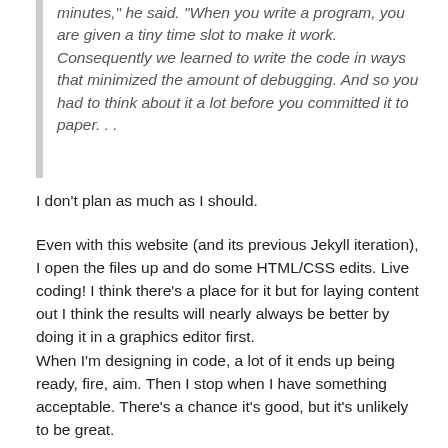minutes," he said. "When you write a program, you are given a tiny time slot to make it work. Consequently we learned to write the code in ways that minimized the amount of debugging. And so you had to think about it a lot before you committed it to paper. . .
I don't plan as much as I should.
Even with this website (and its previous Jekyll iteration), I open the files up and do some HTML/CSS edits. Live coding! I think there's a place for it but for laying content out I think the results will nearly always be better by doing it in a graphics editor first.
When I'm designing in code, a lot of it ends up being ready, fire, aim. Then I stop when I have something acceptable. There's a chance it's good, but it's unlikely to be great.